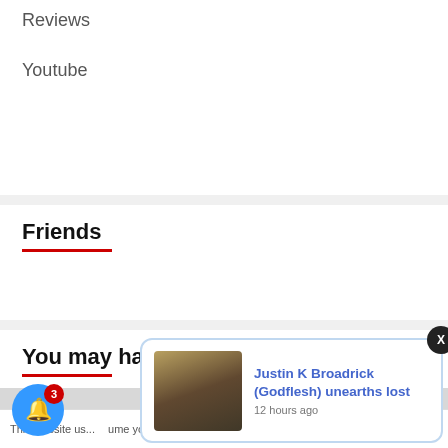Reviews
Youtube
Friends
You may have missed
[Figure (photo): Gray placeholder image left]
[Figure (photo): Gray placeholder image right]
[Figure (screenshot): Notification popup with thumbnail and text: Justin K Broadrick (Godflesh) unearths lost, 12 hours ago]
This website us...ume you're...Cookie settings ACCEPT